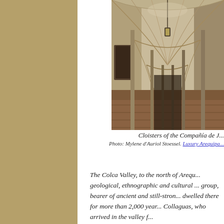[Figure (photo): Photograph of the cloisters of the Compañía de Jesús, showing a long stone corridor with arched vaulted ceilings, brick floor, and a hanging lantern, perspective receding into the distance.]
Cloisters of the Compañía de J...
Photo: Mylene d'Auriol Stoessel. Luxury Arequipa...
The Colca Valley, to the north of Arequ... geological, ethnographic and cultural ... group, bearer of ancient and still-stron... dwelled there for more than 2,000 year... Collaguas, who arrived in the valley f...